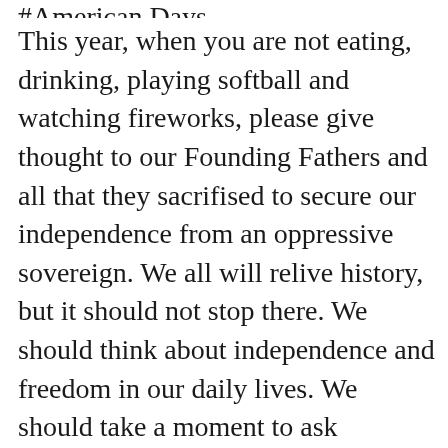This year, when you are not eating, drinking, playing softball and watching fireworks, please give thought to our Founding Fathers and all that they sacrifised to secure our independence from an oppressive sovereign.  We all will relive history, but it should not stop there.  We should think about independence and freedom in our daily lives.  We should take a moment to ask ourselves why it is special to live in America.
Here is what I think.
Our country is the greatest country on earth, and we need to keep it that way.  Currently, the edges are crumbling a bit, and we need to get back to basics